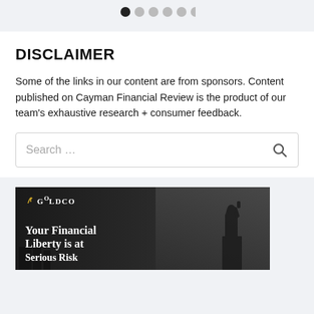[Figure (other): Pagination dots row: one filled dark circle followed by five lighter grey circles]
DISCLAIMER
Some of the links in our content are from sponsors. Content published on Cayman Financial Review is the product of our team's exhaustive research + consumer feedback.
[Figure (other): Search bar with placeholder text 'Search ...' and a search icon on the right]
[Figure (photo): Goldco advertisement banner in black and white showing Statue of Liberty silhouette with text 'Your Financial Liberty is at Serious Ris...']